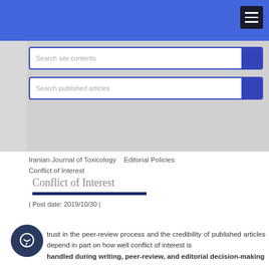[Figure (screenshot): Search site contents input box with blue border and blue search button]
[Figure (screenshot): Search published articles input box with blue border and blue search button]
Iranian Journal of Toxicology   Editorial Policies
Conflict of Interest
Conflict of Interest
| Post date: 2019/10/30 |
trust in the peer-review process and the credibility of published articles depend in part on how well conflict of interest is handled during writing, peer-review, and editorial decision-making